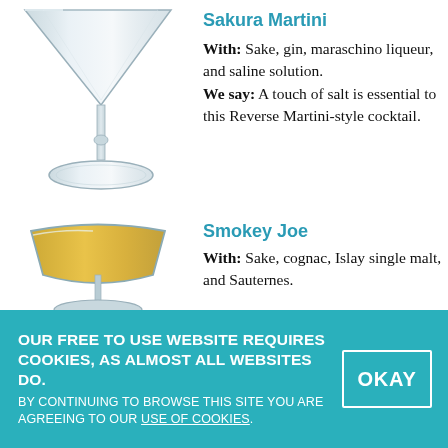[Figure (photo): A classic martini glass with a clear/pale drink, seen from the side showing the elegant stem and base.]
Sakura Martini
With: Sake, gin, maraschino liqueur, and saline solution. We say: A touch of salt is essential to this Reverse Martini-style cocktail.
[Figure (photo): A coupe glass with a golden-yellow drink, the broad shallow bowl filled with a cocktail.]
Smokey Joe
With: Sake, cognac, Islay single malt, and Sauternes.
OUR FREE TO USE WEBSITE REQUIRES COOKIES, AS ALMOST ALL WEBSITES DO. BY CONTINUING TO BROWSE THIS SITE YOU ARE AGREEING TO OUR USE OF COOKIES.